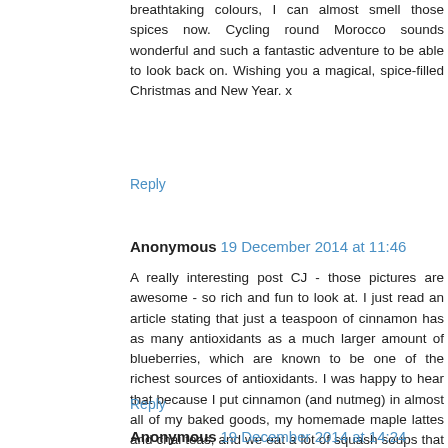breathtaking colours, I can almost smell those spices now. Cycling round Morocco sounds wonderful and such a fantastic adventure to be able to look back on. Wishing you a magical, spice-filled Christmas and New Year. x
Reply
Anonymous 19 December 2014 at 11:46
A really interesting post CJ - those pictures are awesome - so rich and fun to look at. I just read an article stating that just a teaspoon of cinnamon has as many antioxidants as a much larger amount of blueberries, which are known to be one of the richest sources of antioxidants. I was happy to hear that because I put cinnamon (and nutmeg) in almost all of my baked goods, my homemade maple lattes and chai teas, and we eat a lot of squash soups that call for cinnamon and nutmeg. Spicing things up is good!
Reply
Anonymous 19 December 2014 at 14:24